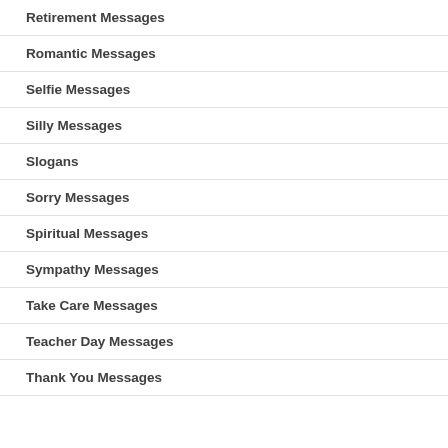Retirement Messages
Romantic Messages
Selfie Messages
Silly Messages
Slogans
Sorry Messages
Spiritual Messages
Sympathy Messages
Take Care Messages
Teacher Day Messages
Thank You Messages